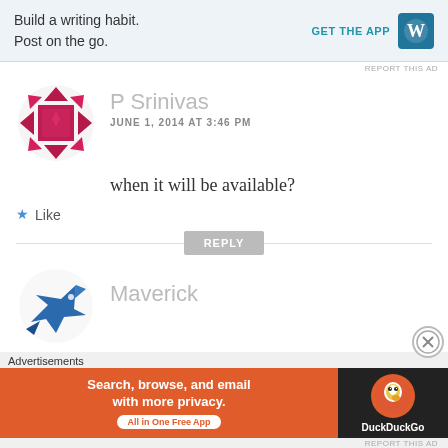[Figure (other): WordPress app advertisement banner: 'Build a writing habit. Post on the go.' with GET THE APP link and WordPress icon]
REPORT THIS AD
[Figure (other): P Srinivas avatar - decorative geometric diamond/ruby pattern in dark pink/crimson]
P Srinivas
JUNE 1, 2014 AT 3:46 PM
when it will be available?
Like
REPLY
[Figure (other): Maverick avatar - blue geometric bird/animal shape]
Maverick
Advertisements
[Figure (other): DuckDuckGo advertisement: 'Search, browse, and email with more privacy. All in One Free App' with DuckDuckGo logo on dark background]